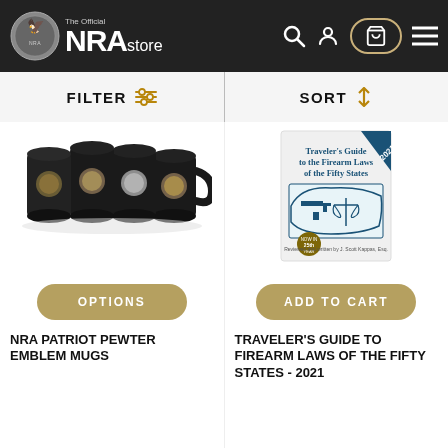[Figure (logo): The Official NRA Store logo with eagle emblem on dark background header, search icon, user icon, cart icon, and menu icon]
FILTER
SORT
[Figure (photo): Four black NRA Patriot Pewter Emblem Mugs with medallions on white background]
[Figure (photo): Traveler's Guide to the Firearm Laws of the Fifty States 2021 book cover with map of USA showing gun and scales illustration]
OPTIONS
ADD TO CART
NRA PATRIOT PEWTER EMBLEM MUGS
TRAVELER'S GUIDE TO FIREARM LAWS OF THE FIFTY STATES - 2021